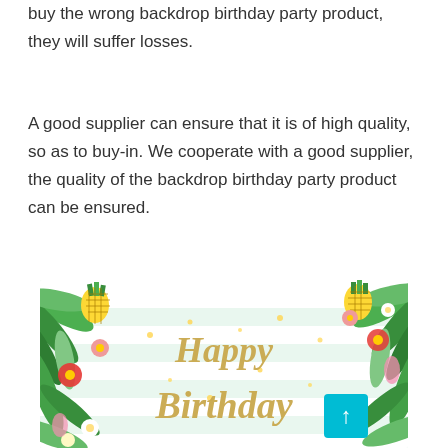buy the wrong backdrop birthday party product, they will suffer losses.
A good supplier can ensure that it is of high quality, so as to buy-in. We cooperate with a good supplier, the quality of the backdrop birthday party product can be ensured.
[Figure (photo): A colorful tropical Happy Birthday banner/backdrop with flamingos, pineapples, hibiscus flowers, and palm leaves. The banner reads 'Happy Birthday' in gold script lettering on a mint green and white striped background. A teal scroll-to-top button with an upward arrow is overlaid in the bottom right.]